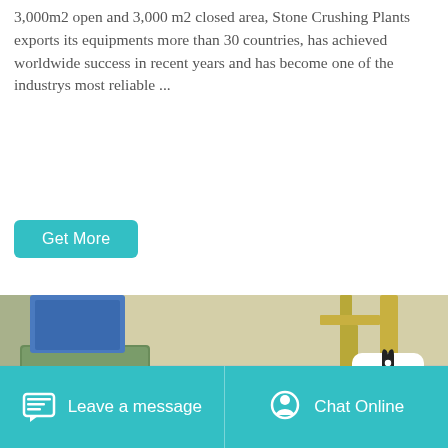3,000m2 open and 3,000 m2 closed area, Stone Crushing Plants exports its equipments more than 30 countries, has achieved worldwide success in recent years and has become one of the industrys most reliable ...
[Figure (photo): Industrial stone crushing plant machinery — green-painted heavy equipment including crushers, motors, and conveyor mechanisms inside a factory facility]
Leave a message   Chat Online